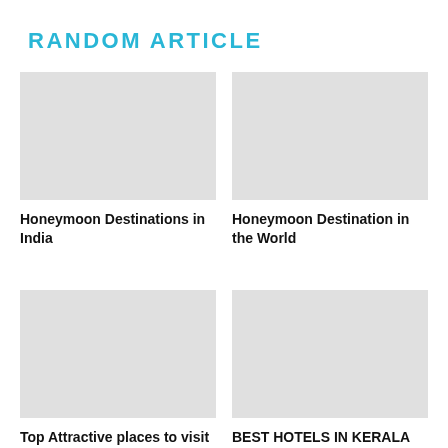RANDOM ARTICLE
Honeymoon Destinations in India
Honeymoon Destination in the World
Top Attractive places to visit in
BEST HOTELS IN KERALA